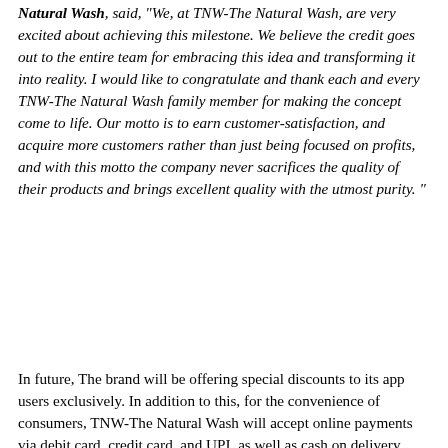Natural Wash, said, "We, at TNW-The Natural Wash, are very excited about achieving this milestone. We believe the credit goes out to the entire team for embracing this idea and transforming it into reality. I would like to congratulate and thank each and every TNW-The Natural Wash family member for making the concept come to life. Our motto is to earn customer-satisfaction, and acquire more customers rather than just being focused on profits, and with this motto the company never sacrifices the quality of their products and brings excellent quality with the utmost purity. "
In future, The brand will be offering special discounts to its app users exclusively. In addition to this, for the convenience of consumers, TNW-The Natural Wash will accept online payments via debit card, credit card, and UPI, as well as cash on delivery. The firm is also working on establishing an easy